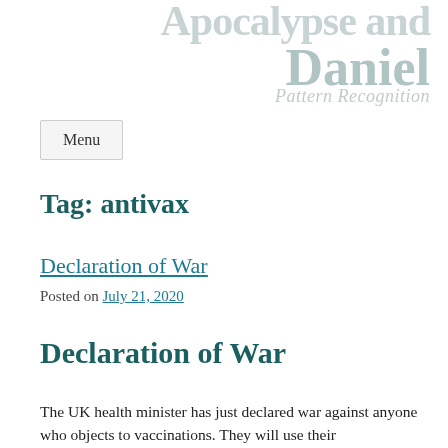Apocalypse and Daniel
Pattern Recognition
Menu
Tag: antivax
Declaration of War
Posted on July 21, 2020
Declaration of War
The UK health minister has just declared war against anyone who objects to vaccinations. They will use their